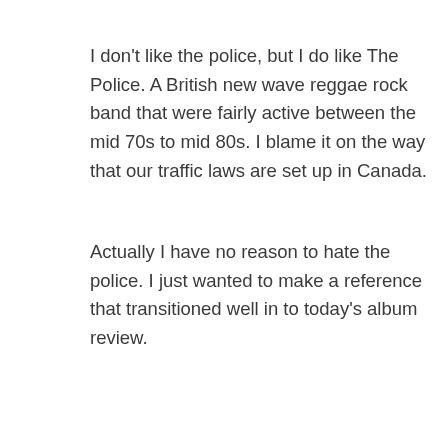I don't like the police, but I do like The Police. A British new wave reggae rock band that were fairly active between the mid 70s to mid 80s. I blame it on the way that our traffic laws are set up in Canada.
Actually I have no reason to hate the police. I just wanted to make a reference that transitioned well in to today's album review.